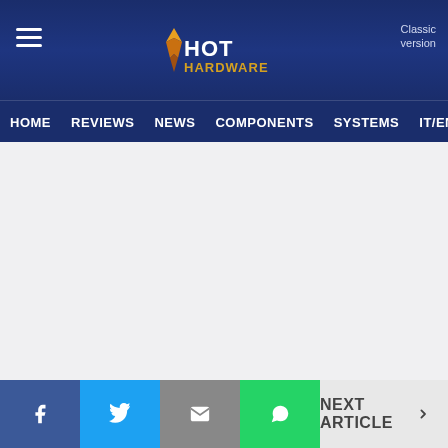HotHardware — Classic version | HOME | REVIEWS | NEWS | COMPONENTS | SYSTEMS | IT/EN
[Figure (screenshot): Large blank/white advertisement or content area below the navigation bar]
The good news is, this should ease a bit next year...
Share: Facebook | Twitter | Email | WhatsApp | NEXT ARTICLE >